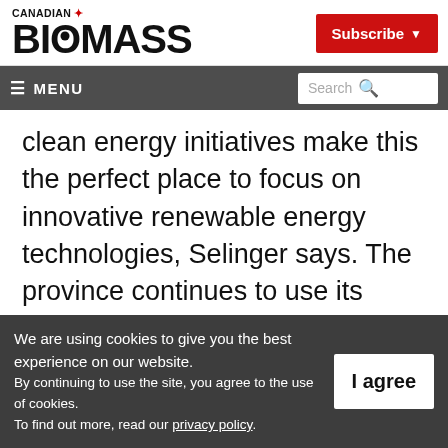[Figure (logo): Canadian Biomass magazine logo with maple leaf icon and red Subscribe button]
≡ MENU    Search
clean energy initiatives make this the perfect place to focus on innovative renewable energy technologies, Selinger says. The province continues to use its advantages to develop renewable energy sources, he adds. They include vast
We are using cookies to give you the best experience on our website.
By continuing to use the site, you agree to the use of cookies.
To find out more, read our privacy policy.